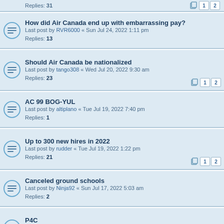Replies: 31 [pagination 1 2]
How did Air Canada end up with embarrassing pay?
Last post by RVR6000 « Sun Jul 24, 2022 1:11 pm
Replies: 13
Should Air Canada be nationalized
Last post by tango308 « Wed Jul 20, 2022 9:30 am
Replies: 23 [pagination 1 2]
AC 99 BOG-YUL
Last post by altiplano « Tue Jul 19, 2022 7:40 pm
Replies: 1
Up to 300 new hires in 2022
Last post by rudder « Tue Jul 19, 2022 1:22 pm
Replies: 21 [pagination 1 2]
Canceled ground schools
Last post by Ninja92 « Sun Jul 17, 2022 5:03 am
Replies: 2
P4C
Last post by yycflyguy « Fri Jul 15, 2022 9:41 am
Replies: 29 [pagination 1 2]
BURNOUT
Last post by WellThatAgedWell « Wed Jul 13, 2022 7:35 pm
Replies: 1
What to expect as a new Fo.
Last post by bobcatdriver « Sat Jul 09, 2022 5:47 pm
Replies: 61 [pagination 1 2 3 4]